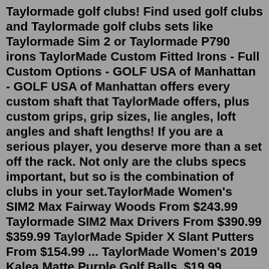Taylormade golf clubs! Find used golf clubs and Taylormade golf clubs sets like Taylormade Sim 2 or Taylormade P790 irons TaylorMade Custom Fitted Irons - Full Custom Options - GOLF USA of Manhattan - GOLF USA of Manhattan offers every custom shaft that TaylorMade offers, plus custom grips, grip sizes, lie angles, loft angles and shaft lengths! If you are a serious player, you deserve more than a set off the rack. Not only are the clubs specs important, but so is the combination of clubs in your set.TaylorMade Women's SIM2 Max Fairway Woods From $243.99 Taylormade SIM2 Max Drivers From $390.99 $359.99 TaylorMade Spider X Slant Putters From $154.99 ... TaylorMade Women's 2019 Kalea Matte Purple Golf Balls. $19.99. Shipping Available In Nearby Stores. ADD TO CART. TaylorMade TP5 Golf Balls – 3 Ball Sleeve. $14.99. Shipping Available Not Available to Pickup. ADD TO CART. TaylorMade Women's 2019 Kalea Matte Peach Golf Balls. May 03, 2022 · Welcome to TaylorMade Golf Newsroom. Here you can download our latest news, images and videos